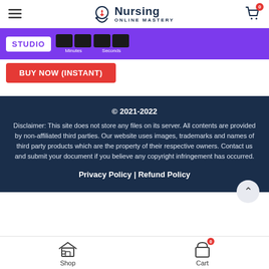Nursing Online Mastery
[Figure (screenshot): Promo code bar with purple background showing 'STUDIO' coupon code and countdown timer showing Minutes and Seconds in dark blocks]
[Figure (screenshot): Red 'BUY NOW (INSTANT)' button on white background]
© 2021-2022
Disclaimer: This site does not store any files on its server. All contents are provided by non-affiliated third parties. Our website uses images, trademarks and names of third party products which are the property of their respective owners. Contact us and submit your document if you believe any copyright infringement has occurred.
Privacy Policy | Refund Policy
Shop   Cart